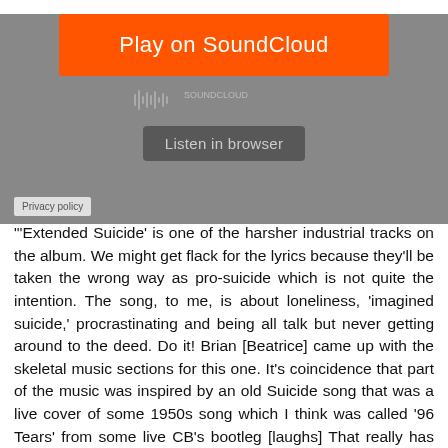[Figure (screenshot): SoundCloud embedded player widget with orange 'Play on SoundCloud' button, waveform, 'Listen in browser' button, and 'Privacy policy' label on a grey background.]
"'Extended Suicide' is one of the harsher industrial tracks on the album. We might get flack for the lyrics because they'll be taken the wrong way as pro-suicide which is not quite the intention. The song, to me, is about loneliness, 'imagined suicide,' procrastinating and being all talk but never getting around to the deed. Do it! Brian [Beatrice] came up with the skeletal music sections for this one. It's coincidence that part of the music was inspired by an old Suicide song that was a live cover of some 1950s song which I think was called '96 Tears' from some live CB's bootleg [laughs] That really has no relation to the song title.